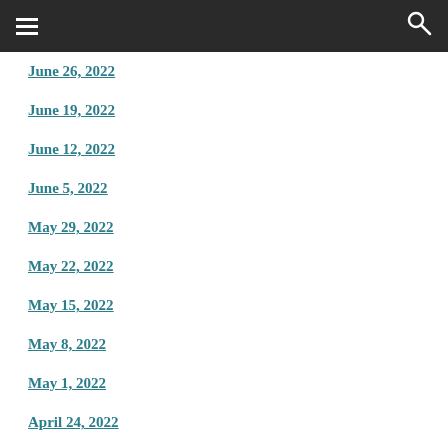≡  🔍
June 26, 2022
June 19, 2022
June 12, 2022
June 5, 2022
May 29, 2022
May 22, 2022
May 15, 2022
May 8, 2022
May 1, 2022
April 24, 2022
April 17, 2022